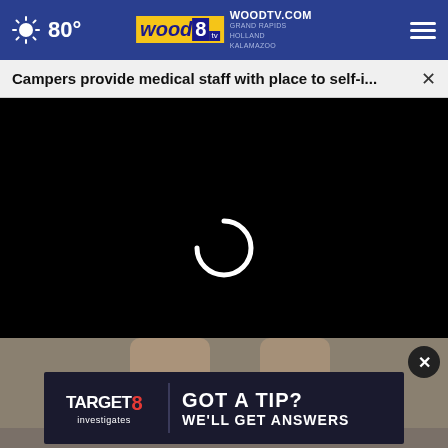80° WOODTV.COM GRAND RAPIDS HOLLAND KALAMAZOO
Campers provide medical staff with place to self-i...
[Figure (screenshot): Black video player loading screen with white spinner/loading circle indicator]
[Figure (photo): Partial photo showing someone's feet/lower legs in white sneakers]
[Figure (screenshot): Target 8 Investigates advertisement banner: GOT A TIP? WE'LL GET ANSWERS]